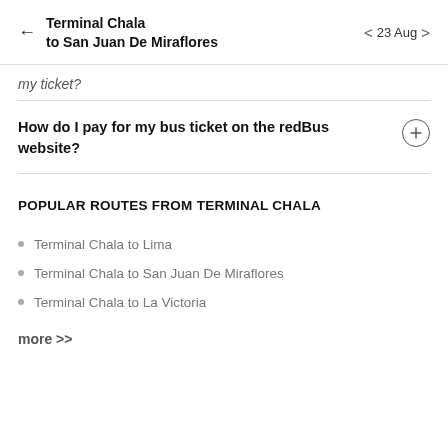Terminal Chala to San Juan De Miraflores · 23 Aug
my ticket?
How do I pay for my bus ticket on the redBus website?
POPULAR ROUTES FROM TERMINAL CHALA
Terminal Chala to Lima
Terminal Chala to San Juan De Miraflores
Terminal Chala to La Victoria
more >>